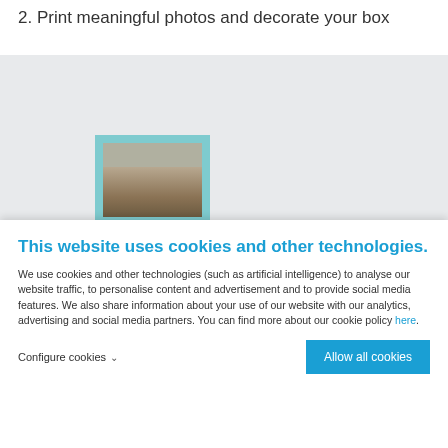2. Print meaningful photos and decorate your box
[Figure (photo): A photo frame with a cyan/teal border containing an image, sitting against a light grey background]
This website uses cookies and other technologies.
We use cookies and other technologies (such as artificial intelligence) to analyse our website traffic, to personalise content and advertisement and to provide social media features. We also share information about your use of our website with our analytics, advertising and social media partners. You can find more about our cookie policy here.
Configure cookies  ∨
Allow all cookies